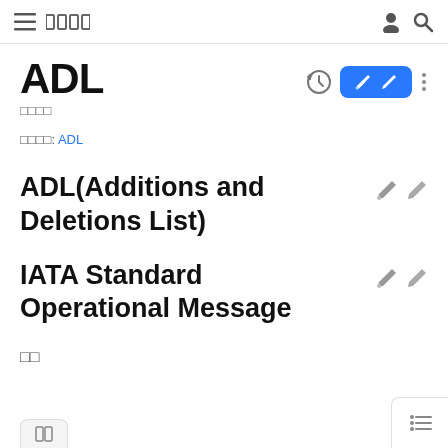□□□□
ADL
□□□□
□□□□: ADL
ADL(Additions and Deletions List)
IATA Standard Operational Message
□□